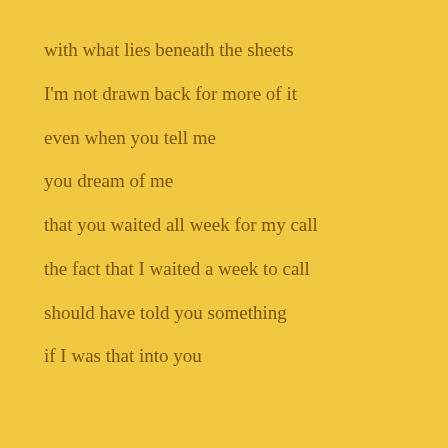with what lies beneath the sheets
I'm not drawn back for more of it
even when you tell me
you dream of me
that you waited all week for my call
the fact that I waited a week to call
should have told you something
if I was that into you